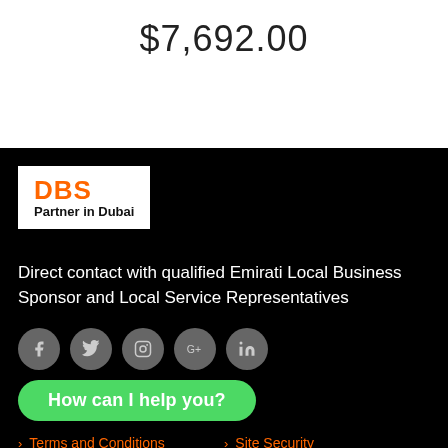$7,692.00
[Figure (logo): DBS Partner in Dubai logo — white background box with orange bold DBS text and black smaller text 'Partner in Dubai']
Direct contact with qualified Emirati Local Business Sponsor and Local Service Representatives
[Figure (infographic): Row of five circular grey social media icons: Facebook, Twitter, Instagram, Google+, LinkedIn]
How can I help you?
Terms and Conditions   Site Security